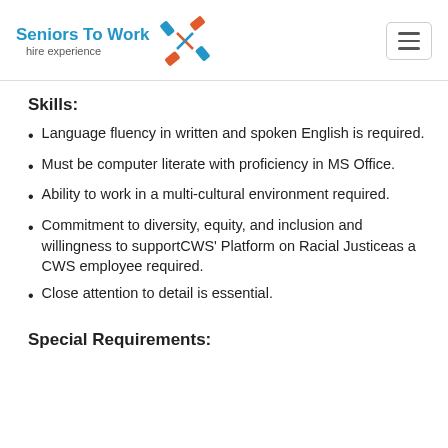[Figure (logo): Seniors To Work logo with 'hire experience' tagline and colorful handshake icon]
Skills:
Language fluency in written and spoken English is required.
Must be computer literate with proficiency in MS Office.
Ability to work in a multi-cultural environment required.
Commitment to diversity, equity, and inclusion and willingness to supportCWS' Platform on Racial Justiceas a CWS employee required.
Close attention to detail is essential.
Special Requirements: